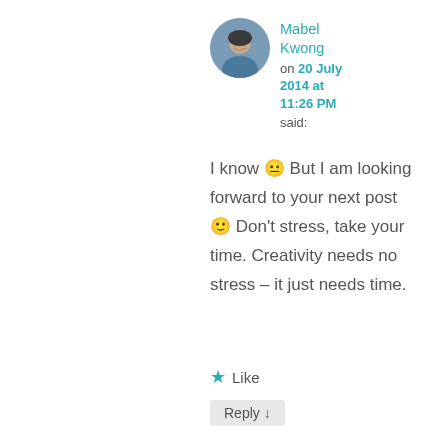[Figure (photo): Circular avatar photo of Mabel Kwong, a young woman]
Mabel Kwong
on 20 July 2014 at 11:26 PM
said:
I know 😐 But I am looking forward to your next post 🙂 Don't stress, take your time. Creativity needs no stress – it just needs time.
★ Like
Reply ↓